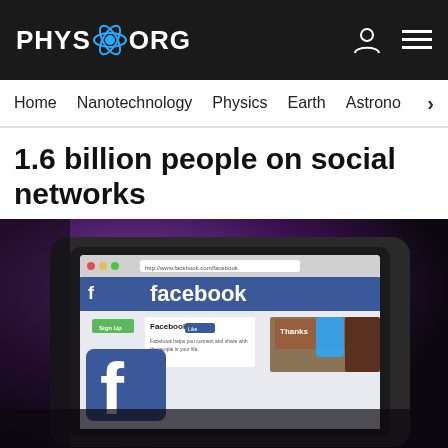PHYS.ORG
Home  Nanotechnology  Physics  Earth  Astrono...
1.6 billion people on social networks
[Figure (photo): Laptop screen showing the Facebook homepage on a browser, photographed at an angle on a dark surface with blurred purple background]